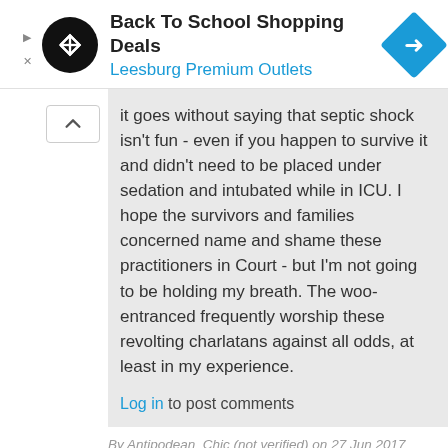[Figure (logo): Back To School Shopping Deals ad banner with Leesburg Premium Outlets logo, black circular icon with arrows, and blue diamond navigation icon]
it goes without saying that septic shock isn't fun - even if you happen to survive it and didn't need to be placed under sedation and intubated while in ICU. I hope the survivors and families concerned name and shame these practitioners in Court - but I'm not going to be holding my breath. The woo-entranced frequently worship these revolting charlatans against all odds, at least in my experience.
Log in to post comments
By Antipodean_Chic (not verified) on 27 Jun 2017
#permalink
@Sabine Massah: a very nice article, written by ?